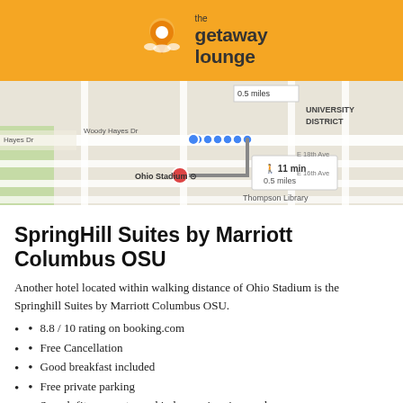[Figure (logo): The Getaway Lounge logo — orange location pin icon with clouds, and text 'the getaway lounge' in dark gray on orange background]
[Figure (map): Google Maps screenshot showing walking route from a blue dot near Woody Hayes Dr to Ohio Stadium (red pin), 11 min walk, 0.5 miles. Shows University District, Buckeye Donuts, Target, Thompson Library.]
SpringHill Suites by Marriott Columbus OSU
Another hotel located within walking distance of Ohio Stadium is the Springhill Suites by Marriott Columbus OSU.
8.8 / 10 rating on booking.com
Free Cancellation
Good breakfast included
Free private parking
Superb fitness centre and indoor swimming pool
Modern and clean inside
Private bathrooms
This website uses cookies to improve your experience, as per our privacy policy accept